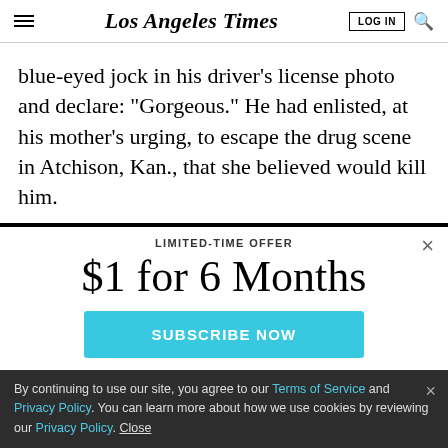Los Angeles Times
blue-eyed jock in his driver's license photo and declare: "Gorgeous." He had enlisted, at his mother's urging, to escape the drug scene in Atchison, Kan., that she believed would kill him.
LIMITED-TIME OFFER
$1 for 6 Months
SUBSCRIBE NOW
By continuing to use our site, you agree to our Terms of Service and Privacy Policy. You can learn more about how we use cookies by reviewing our Privacy Policy. Close